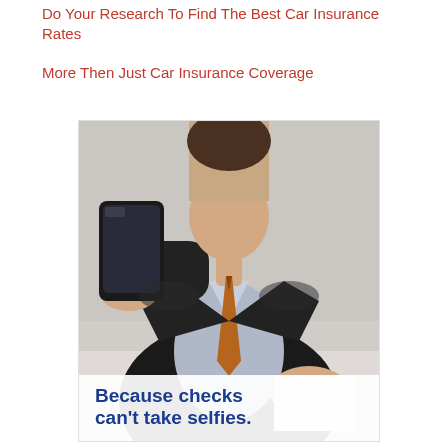Do Your Research To Find The Best Car Insurance Rates
More Then Just Car Insurance Coverage
[Figure (photo): A man in a dark suit with an orange/brown tie holding a smartphone camera toward the viewer, with papers/documents in hand, photographed from a close angle with blurred background.]
Because checks can't take selfies.